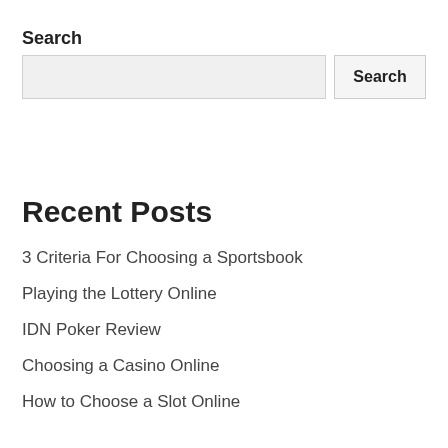Search
Recent Posts
3 Criteria For Choosing a Sportsbook
Playing the Lottery Online
IDN Poker Review
Choosing a Casino Online
How to Choose a Slot Online